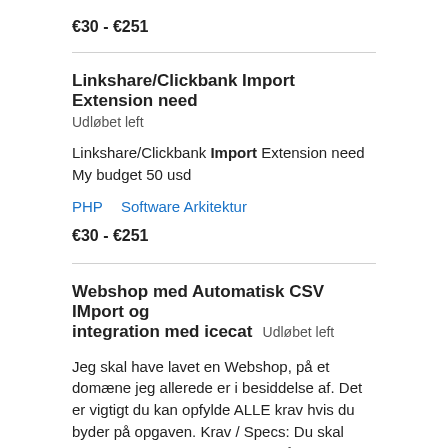€30 - €251
Linkshare/Clickbank Import Extension need
Udløbet left
Linkshare/Clickbank Import Extension need My budget 50 usd
PHP
Software Arkitektur
€30 - €251
Webshop med Automatisk CSV IMport og integration med icecat
Udløbet left
Jeg skal have lavet en Webshop, på et domæne jeg allerede er i besiddelse af. Det er vigtigt du kan opfylde ALLE krav hvis du byder på opgaven. Krav / Specs: Du skal acceptere en betalingsordning på ca. 500,- / md, dog kan